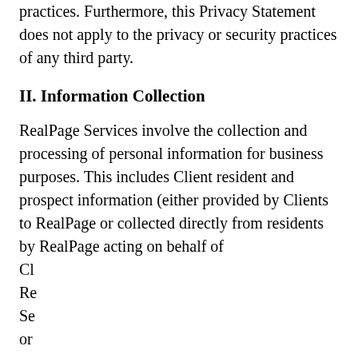practices. Furthermore, this Privacy Statement does not apply to the privacy or security practices of any third party.
II. Information Collection
RealPage Services involve the collection and processing of personal information for business purposes. This includes Client resident and prospect information (either provided by Clients to RealPage or collected directly from residents by RealPage acting on behalf of Cl Re Se or m ty. Th fo
[Figure (screenshot): Cookie consent modal dialog with close button (grey circle with X), bold title 'This website uses cookies to improve user experience.' and body text 'By using this site, you agree to all cookies in accordance with our Cookie Policy']